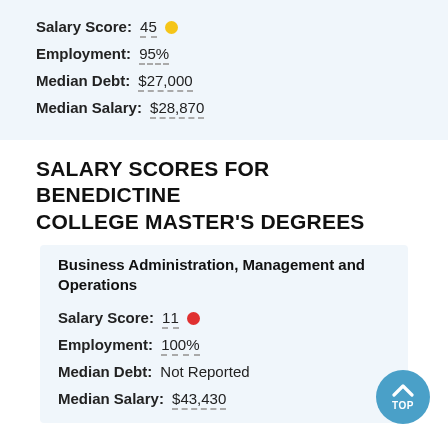Salary Score: 45
Employment: 95%
Median Debt: $27,000
Median Salary: $28,870
SALARY SCORES FOR BENEDICTINE COLLEGE MASTER'S DEGREES
Business Administration, Management and Operations
Salary Score: 11
Employment: 100%
Median Debt: Not Reported
Median Salary: $43,430